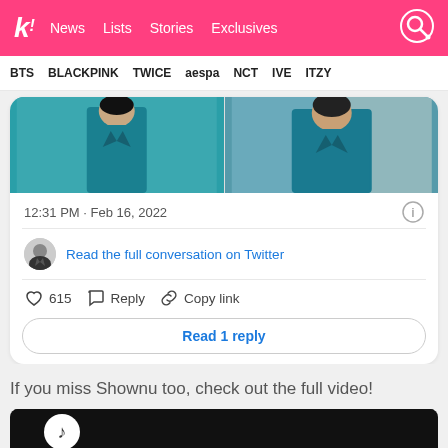k! News  Lists  Stories  Exclusives
BTS  BLACKPINK  TWICE  aespa  NCT  IVE  ITZY
[Figure (photo): Two people wearing teal/blue outfits in a tweet embedded image]
12:31 PM · Feb 16, 2022
Read the full conversation on Twitter
615  Reply  Copy link
Read 1 reply
If you miss Shownu too, check out the full video!
[Figure (screenshot): Video thumbnail at bottom of page]